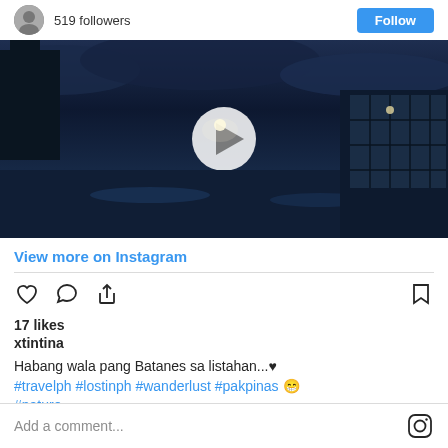519 followers
[Figure (photo): Dark nighttime street scene with rain reflections, building silhouettes and lights, with a white play button overlay indicating a video thumbnail]
View more on Instagram
[Figure (infographic): Instagram action icons: heart (like), speech bubble (comment), share arrow, and bookmark]
17 likes
xtintina
Habang wala pang Batanes sa listahan...♥ #travelph #lostinph #wanderlust #pakpinas 😁 #nature
Add a comment...